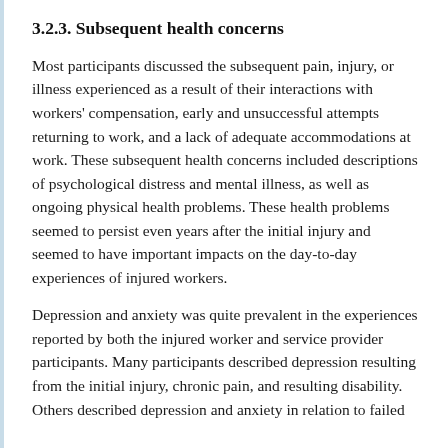3.2.3. Subsequent health concerns
Most participants discussed the subsequent pain, injury, or illness experienced as a result of their interactions with workers' compensation, early and unsuccessful attempts returning to work, and a lack of adequate accommodations at work. These subsequent health concerns included descriptions of psychological distress and mental illness, as well as ongoing physical health problems. These health problems seemed to persist even years after the initial injury and seemed to have important impacts on the day-to-day experiences of injured workers.
Depression and anxiety was quite prevalent in the experiences reported by both the injured worker and service provider participants. Many participants described depression resulting from the initial injury, chronic pain, and resulting disability. Others described depression and anxiety in relation to failed